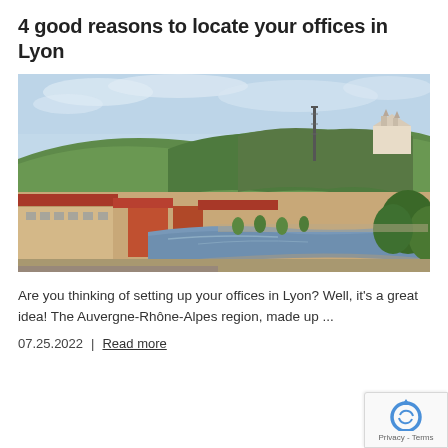4 good reasons to locate your offices in Lyon
[Figure (photo): Aerial panoramic view of Lyon, France, showing the Saône river, old buildings with red rooftops, green hillside with Fourvière basilica and metal tower, under a partly cloudy sky.]
Are you thinking of setting up your offices in Lyon? Well, it's a great idea! The Auvergne-Rhône-Alpes region, made up ...
07.25.2022 | Read more